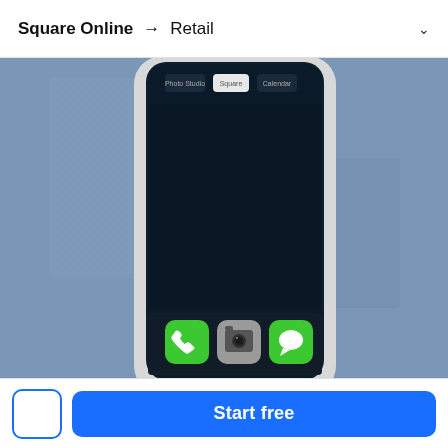Square Online → Retail
[Figure (photo): Close-up of a smartphone with a white case resting on denim fabric. The phone screen shows app icons at the bottom: a green phone icon, a gray camera icon, and a green messages icon. The top of the screen shows a notification bar with app icons.]
[Figure (other): Small icon showing geometric shapes: triangle, square, and circle arranged in a grid, on a light gray rounded rectangle background.]
Start free